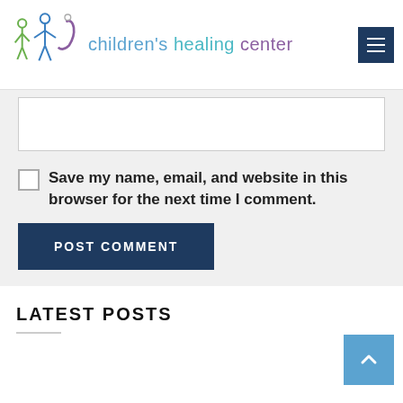[Figure (logo): Children's Healing Center logo with stylized figures in green, blue, and purple, and the text 'children's healing center' in blue/teal/purple]
Save my name, email, and website in this browser for the next time I comment.
POST COMMENT
LATEST POSTS